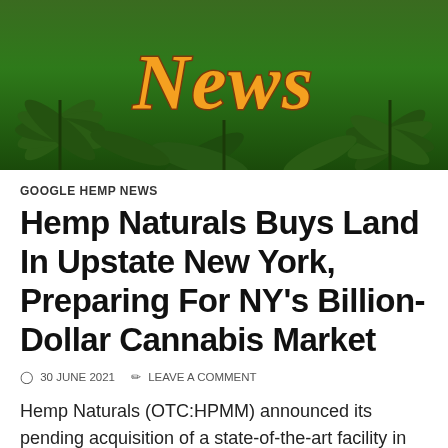[Figure (photo): Header banner showing green cannabis/hemp leaves background with stylized orange 'News' text in graffiti-style lettering]
GOOGLE HEMP NEWS
Hemp Naturals Buys Land In Upstate New York, Preparing For NY's Billion-Dollar Cannabis Market
30 JUNE 2021  LEAVE A COMMENT
Hemp Naturals (OTC:HPMM) announced its pending acquisition of a state-of-the-art facility in upstate New York as part of the company's strategic plan ... Read More